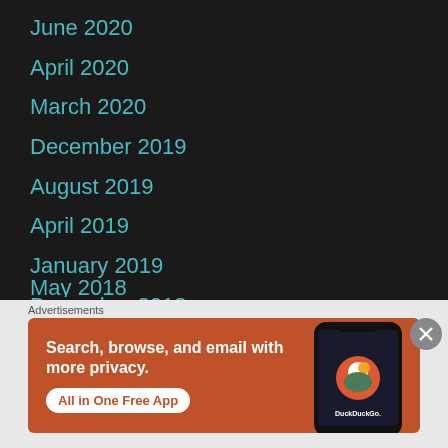June 2020
April 2020
March 2020
December 2019
August 2019
April 2019
January 2019
December 2018
November 2018
October 2018
September 2018
June 2018
May 2018
[Figure (screenshot): DuckDuckGo advertisement banner: 'Search, browse, and email with more privacy. All in One Free App' with phone mockup showing DuckDuckGo app, on orange background]